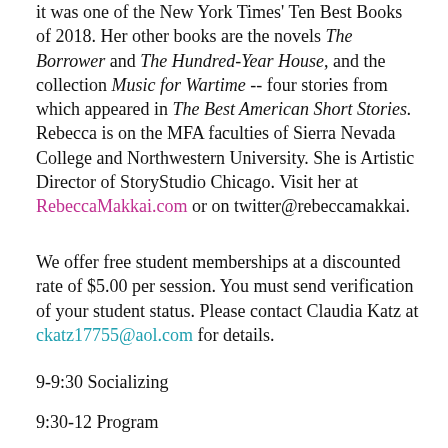it was one of the New York Times' Ten Best Books of 2018. Her other books are the novels The Borrower and The Hundred-Year House, and the collection Music for Wartime -- four stories from which appeared in The Best American Short Stories. Rebecca is on the MFA faculties of Sierra Nevada College and Northwestern University. She is Artistic Director of StoryStudio Chicago. Visit her at RebeccaMakkai.com or on twitter@rebeccamakkai.
We offer free student memberships at a discounted rate of $5.00 per session. You must send verification of your student status. Please contact Claudia Katz at ckatz17755@aol.com for details.
9-9:30 Socializing
9:30-12 Program